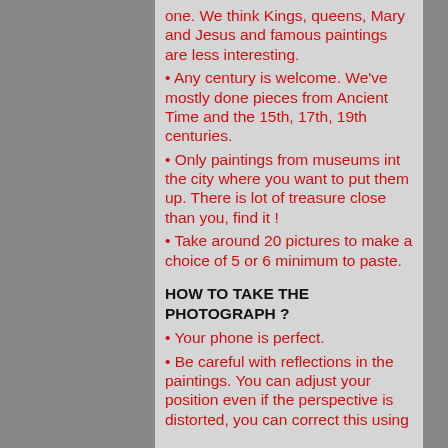one. We think Kings, queens, Mary and Jesus and famous paintings are less interesting.
Any century is welcome. We've mostly done pieces from Ancient Time and the 15th, 17th, 19th centuries.
Only paintings from museums int the city where you want to put them up. There is lot of treasure close than you, find it !
Take around 20 pictures to make a choice of 5 or 6 minimum to paste.
HOW TO TAKE THE PHOTOGRAPH ?
Your phone is perfect.
Be careful with reflections in the paintings. You can adjust your position even if the perspective is distorted, you can correct this using